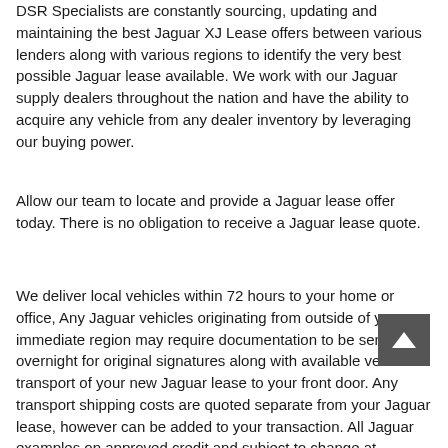DSR Specialists are constantly sourcing, updating and maintaining the best Jaguar XJ Lease offers between various lenders along with various regions to identify the very best possible Jaguar lease available. We work with our Jaguar supply dealers throughout the nation and have the ability to acquire any vehicle from any dealer inventory by leveraging our buying power.
Allow our team to locate and provide a Jaguar lease offer today. There is no obligation to receive a Jaguar lease quote.
We deliver local vehicles within 72 hours to your home or office, Any Jaguar vehicles originating from outside of your immediate region may require documentation to be sent overnight for original signatures along with available vehicle transport of your new Jaguar lease to your front door. Any transport shipping costs are quoted separate from your Jaguar lease, however can be added to your transaction. All Jaguar examples on approved credit and subject to change at anytime and for general